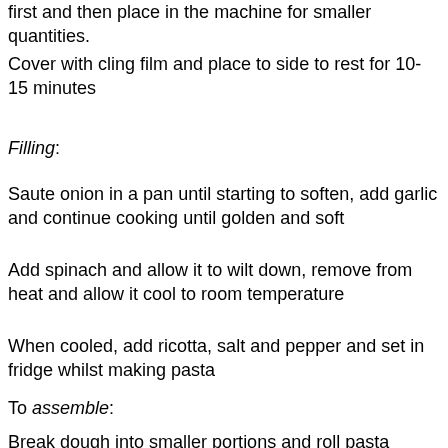first and then place in the machine for smaller quantities.
Cover with cling film and place to side to rest for 10-15 minutes
Filling:
Saute onion in a pan until starting to soften, add garlic and continue cooking until golden and soft
Add spinach and allow it to wilt down, remove from heat and allow it cool to room temperature
When cooled, add ricotta, salt and pepper and set in fridge whilst making pasta
To assemble:
Break dough into smaller portions and roll pasta